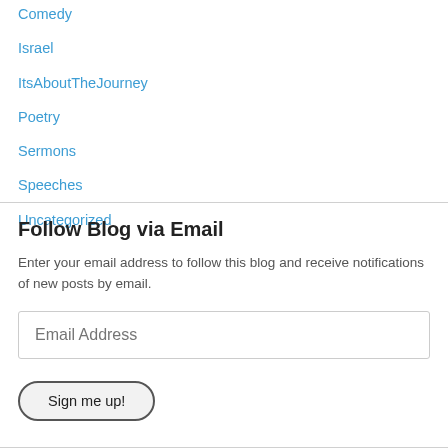Comedy
Israel
ItsAboutTheJourney
Poetry
Sermons
Speeches
Uncategorized
Follow Blog via Email
Enter your email address to follow this blog and receive notifications of new posts by email.
Email Address
Sign me up!